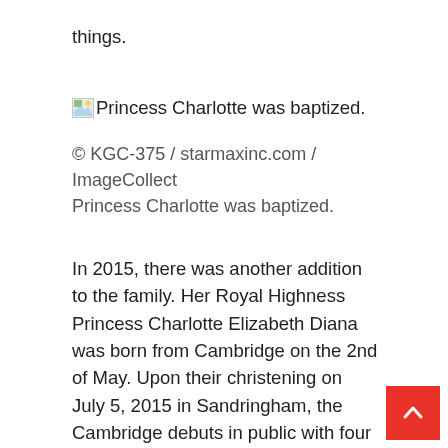things.
[Figure (photo): Broken image icon followed by caption text: Princess Charlotte was baptized.]
© KGC-375 / starmaxinc.com / ImageCollect Princess Charlotte was baptized.
In 2015, there was another addition to the family. Her Royal Highness Princess Charlotte Elizabeth Diana was born from Cambridge on the 2nd of May. Upon their christening on July 5, 2015 in Sandringham, the Cambridge debuts in public with four – to the delight of Royal fans.